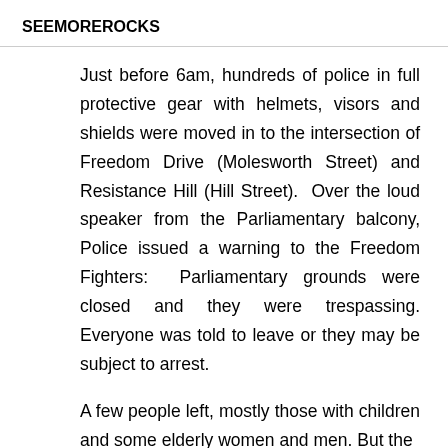SEEMOREROCKS
Just before 6am, hundreds of police in full protective gear with helmets, visors and shields were moved in to the intersection of Freedom Drive (Molesworth Street) and Resistance Hill (Hill Street). Over the loud speaker from the Parliamentary balcony, Police issued a warning to the Freedom Fighters: Parliamentary grounds were closed and they were trespassing. Everyone was told to leave or they may be subject to arrest.
A few people left, mostly those with children and some elderly women and men. But the majority it of found the...